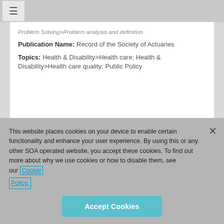Problem Solving>Problem analysis and definition
Publication Name: Record of the Society of Actuaries
Topics: Health & Disability>Health care; Health & Disability>Health care quality; Public Policy
This website places cookies on your device to enable certain functionality and enhance your user experience. By using this or any other SOA operated website, you accept these cookies. To find out more about why we use cookies or how to disable them, see our Cookie Policy.
Accept Cookies